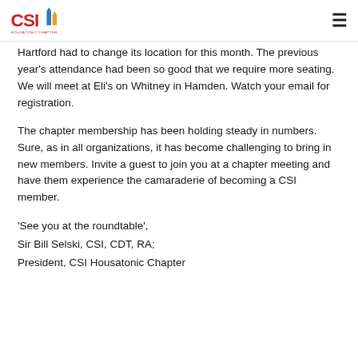CSI Housatonic Chapter logo and navigation
Hartford had to change its location for this month. The previous year's attendance had been so good that we require more seating. We will meet at Eli's on Whitney in Hamden. Watch your email for registration.
The chapter membership has been holding steady in numbers. Sure, as in all organizations, it has become challenging to bring in new members. Invite a guest to join you at a chapter meeting and have them experience the camaraderie of becoming a CSI member.
'See you at the roundtable',
Sir Bill Selski, CSI, CDT, RA;
President, CSI Housatonic Chapter